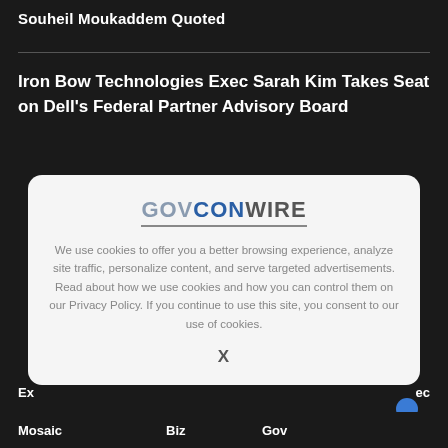Souheil Moukaddem Quoted
Iron Bow Technologies Exec Sarah Kim Takes Seat on Dell's Federal Partner Advisory Board
[Figure (screenshot): GovConWire cookie consent modal overlay with logo, cookie policy text, and close (X) button]
We use cookies to offer you a better browsing experience, analyze site traffic, personalize content, and serve targeted advertisements. Read about how we use cookies and how you can control them on our Privacy Policy. If you continue to use this site, you consent to our use of cookies.
Ex   Mosaic   Biz   Gov   ec